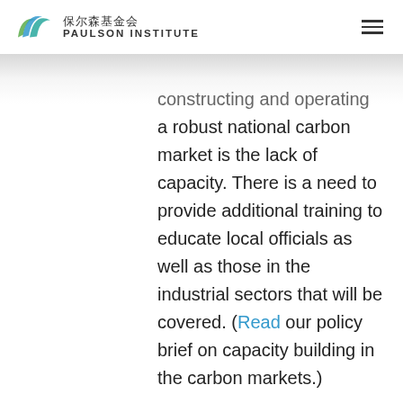保尔森基金会 PAULSON INSTITUTE
constructing and operating a robust national carbon market is the lack of capacity. There is a need to provide additional training to educate local officials as well as those in the industrial sectors that will be covered. (Read our policy brief on capacity building in the carbon markets.)